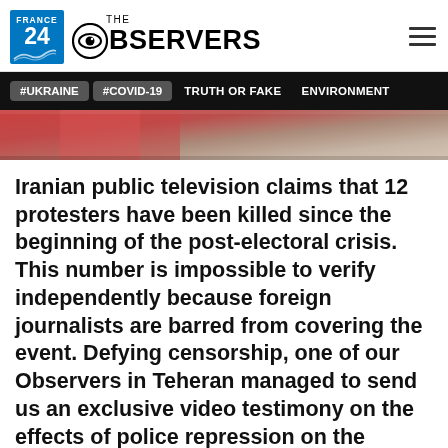France 24 The Observers
#UKRAINE  #COVID-19  TRUTH OR FAKE  ENVIRONMENT
[Figure (photo): Blurred background photo strip showing reddish/warm tones, partial view of a scene]
Iranian public television claims that 12 protesters have been killed since the beginning of the post-electoral crisis. This number is impossible to verify independently because foreign journalists are barred from covering the event. Defying censorship, one of our Observers in Teheran managed to send us an exclusive video testimony on the effects of police repression on the opposition movement. Read more...